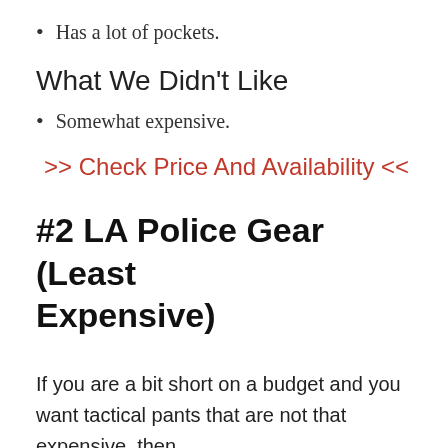Has a lot of pockets.
What We Didn't Like
Somewhat expensive.
>> Check Price And Availability <<
#2 LA Police Gear (Least Expensive)
If you are a bit short on a budget and you want tactical pants that are not that expensive, then